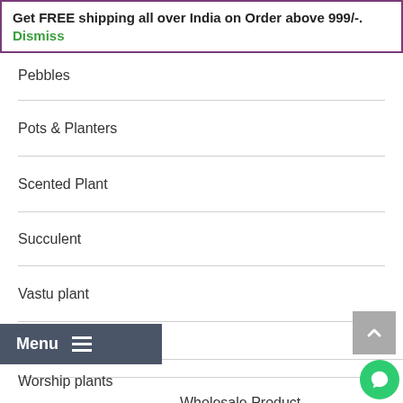Get FREE shipping all over India on Order above 999/-. Dismiss
Pebbles
Pots & Planters
Scented Plant
Succulent
Vastu plant
Vegetable Seeds
Wholesale Product
Worship plants